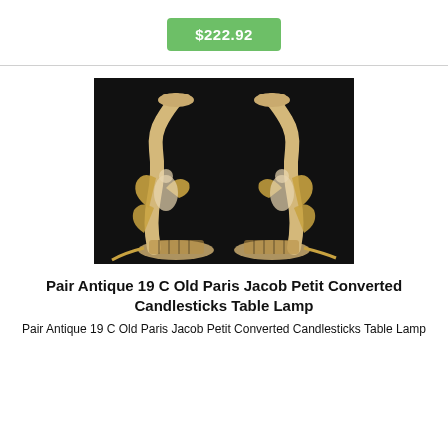$222.92
[Figure (photo): Pair of antique 19th century Old Paris Jacob Petit converted candlestick table lamps with ornate porcelain figural decoration in gold, white, and multicolor against a dark background.]
Pair Antique 19 C Old Paris Jacob Petit Converted Candlesticks Table Lamp
Pair Antique 19 C Old Paris Jacob Petit Converted Candlesticks Table Lamp